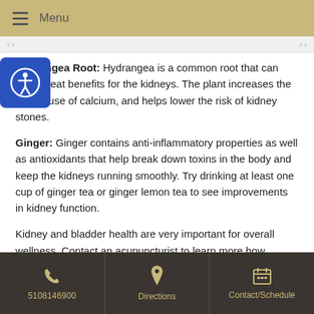Menu
Hydrangea Root: Hydrangea is a common root that can have great benefits for the kidneys. The plant increases the body's use of calcium, and helps lower the risk of kidney stones.
Ginger: Ginger contains anti-inflammatory properties as well as antioxidants that help break down toxins in the body and keep the kidneys running smoothly. Try drinking at least one cup of ginger tea or ginger lemon tea to see improvements in kidney function.
Kidney and bladder health are very important for overall wellness. Contact an acupuncturist to learn more how acupuncture and TCM can get your body back on track and improve your quality of life.
5108146900  Directions  Contact/Schedule